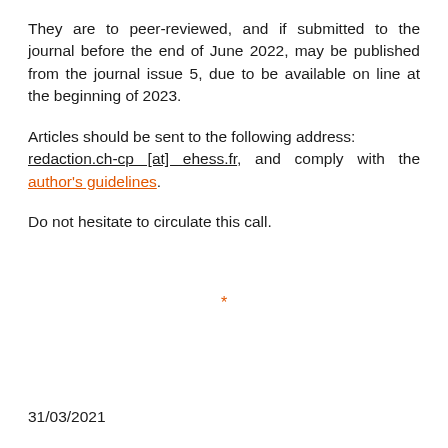They are to peer-reviewed, and if submitted to the journal before the end of June 2022, may be published from the journal issue 5, due to be available on line at the beginning of 2023.
Articles should be sent to the following address: redaction.ch-cp [at] ehess.fr, and comply with the author's guidelines.
Do not hesitate to circulate this call.
*
31/03/2021